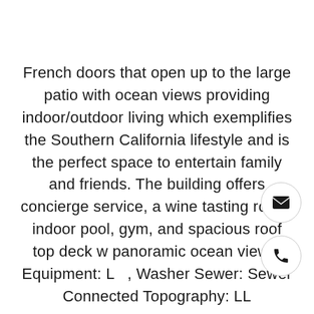French doors that open up to the large patio with ocean views providing indoor/outdoor living which exemplifies the Southern California lifestyle and is the perfect space to entertain family and friends. The building offers concierge service, a wine tasting room, indoor pool, gym, and spacious roof top deck w panoramic ocean views. Equipment: L , Washer Sewer: Sewer Connected Topography: LL
[Figure (illustration): Email icon inside a circle button]
[Figure (illustration): Phone icon inside a circle button]